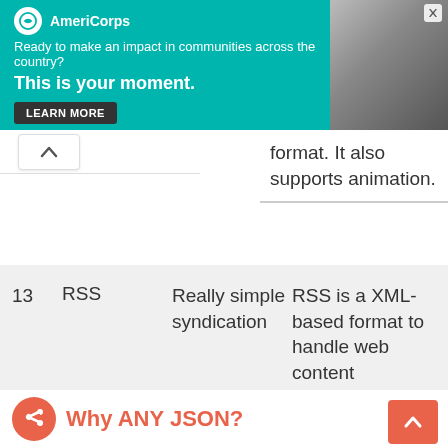[Figure (other): AmeriCorps advertisement banner: teal background with logo, tagline 'Ready to make an impact in communities across the country?', headline 'This is your moment.', LEARN MORE button, and a photo of a person on the right.]
format. It also supports animation.
| # | Name | Full Form | Description |
| --- | --- | --- | --- |
| 13 | RSS | Really simple syndication | RSS is a XML-based format to handle web content syndication. It is used for fast browsing for news and updates. It is generally used for news like sites. |
Why ANY JSON?